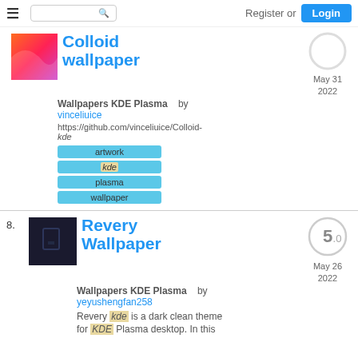Register or Login
Colloid wallpaper
Wallpapers KDE Plasma    by vinceliuice
https://github.com/vinceliuice/Colloid-kde
artwork
kde
plasma
wallpaper
May 31 2022
Revery Wallpaper
Wallpapers KDE Plasma    by yeyushengfan258
Revery kde is a dark clean theme for KDE Plasma desktop. In this
May 26 2022
5.0